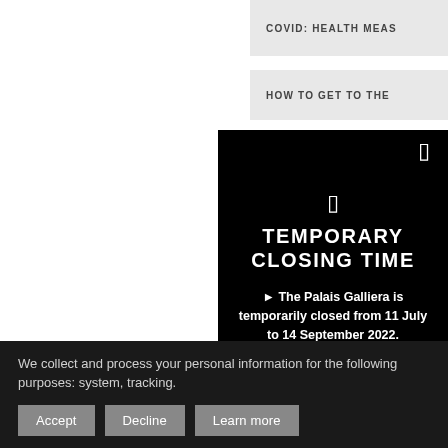COVID: HEALTH MEAS
HOW TO GET TO THE
[Figure (screenshot): White blank area on left side of page]
TEMPORARY CLOSING TIME
► The Palais Galliera is temporarily closed from 11 July to 14 September 2022.
We collect and process your personal information for the following purposes: system, tracking.
Accept  Decline  Learn more